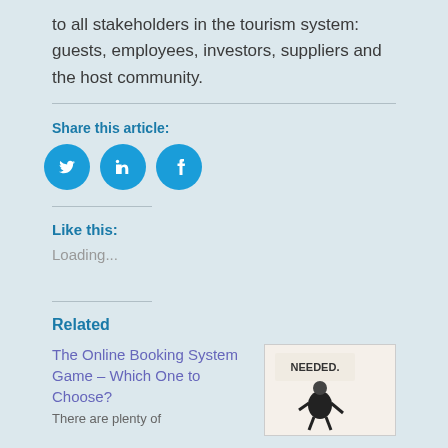to all stakeholders in the tourism system: guests, employees, investors, suppliers and the host community.
Share this article:
[Figure (other): Social media share buttons: Twitter, LinkedIn, Facebook (teal circular icons)]
Like this:
Loading...
Related
The Online Booking System Game – Which One to Choose?
There are plenty of
[Figure (photo): Image showing a sign with the word NEEDED and what appears to be a cartoon or illustration figure below it]